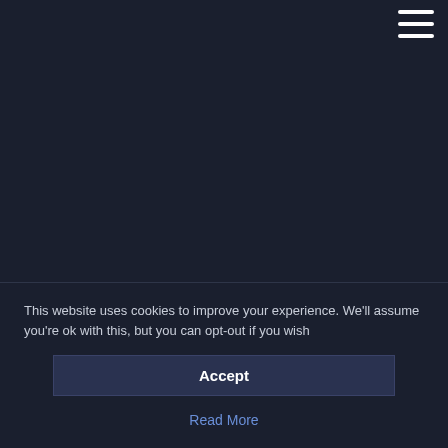[Figure (other): Hamburger menu icon (three horizontal white lines) in top-right corner on dark navy background]
This website uses cookies to improve your experience. We'll assume you're ok with this, but you can opt-out if you wish
Accept
Read More